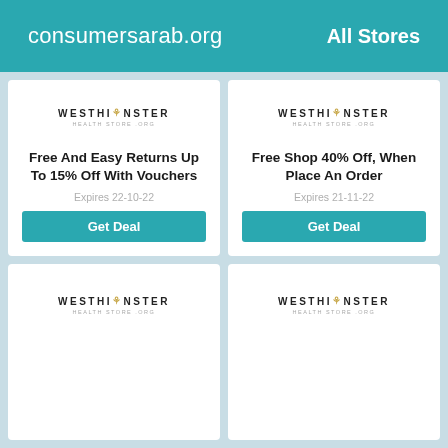consumersarab.org   All Stores
[Figure (logo): Westminster Health Store logo - top left card]
Free And Easy Returns Up To 15% Off With Vouchers
Expires 22-10-22
Get Deal
[Figure (logo): Westminster Health Store logo - top right card]
Free Shop 40% Off, When Place An Order
Expires 21-11-22
Get Deal
[Figure (logo): Westminster Health Store logo - bottom left card]
[Figure (logo): Westminster Health Store logo - bottom right card]